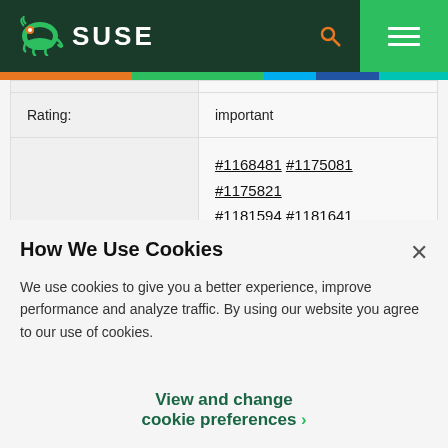SUSE
| Rating: | important |
|  | #1168481 #1175081 #1175821 #1181594 #1181641 #1181677 #1181730 #1181732 #1181749 |
| References: |  |
How We Use Cookies
We use cookies to give you a better experience, improve performance and analyze traffic. By using our website you agree to our use of cookies.
View and change cookie preferences >